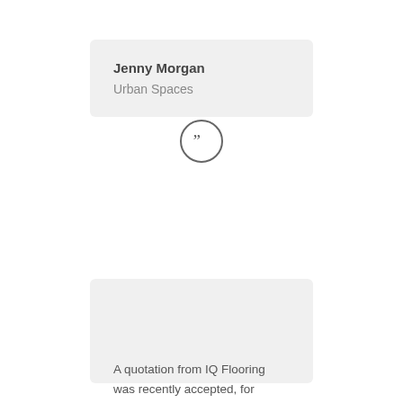Jenny Morgan
Urban Spaces
[Figure (illustration): Closing double-quotation mark icon inside a circle]
A quotation from IQ Flooring was recently accepted, for replacement of 250sq.m of flooring in the Church. The work comprised of the uplift of the existing carpet, which had been in place for over 20years, preparation of the sub-floors, and laying of new interface carpet tiles.